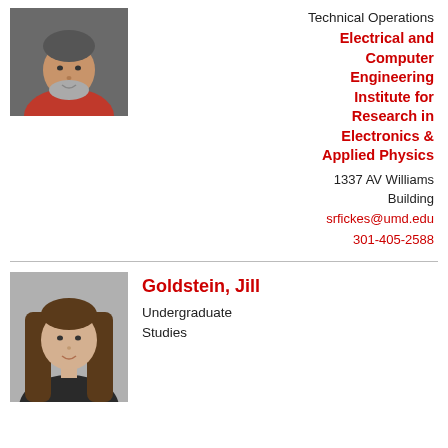[Figure (photo): Head and shoulders photo of a man in a red shirt with a beard, smiling]
Technical Operations
Electrical and Computer Engineering Institute for Research in Electronics & Applied Physics
1337 AV Williams Building
srfickes@umd.edu
301-405-2588
[Figure (photo): Head and shoulders photo of a young woman with long brown hair, smiling]
Goldstein, Jill
Undergraduate Studies